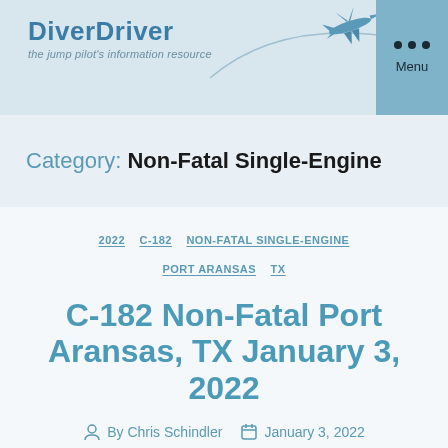DiverDriver — the jump pilot's information resource
Category: Non-Fatal Single-Engine
2022  C-182  NON-FATAL SINGLE-ENGINE  PORT ARANSAS  TX
C-182 Non-Fatal Port Aransas, TX January 3, 2022
By Chris Schindler   January 3, 2022
No Comments